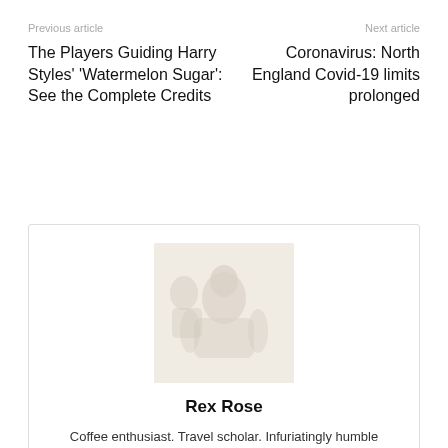Previous article
Next article
The Players Guiding Harry Styles' 'Watermelon Sugar': See the Complete Credits
Coronavirus: North England Covid-19 limits prolonged
[Figure (photo): Author photo of Rex Rose, a faded/washed out portrait image]
Rex Rose
Coffee enthusiast. Travel scholar. Infuriatingly humble zombie fanatic. Thinker. Professional twitter evangelist.